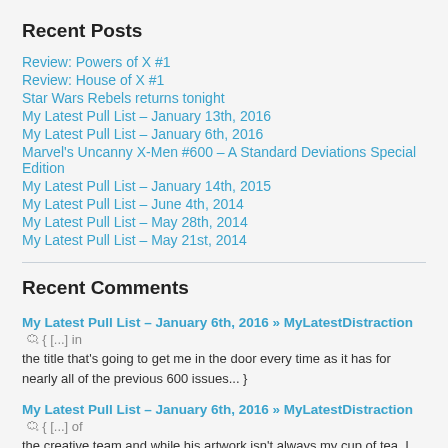Recent Posts
Review: Powers of X #1
Review: House of X #1
Star Wars Rebels returns tonight
My Latest Pull List – January 13th, 2016
My Latest Pull List – January 6th, 2016
Marvel's Uncanny X-Men #600 – A Standard Deviations Special Edition
My Latest Pull List – January 14th, 2015
My Latest Pull List – June 4th, 2014
My Latest Pull List – May 28th, 2014
My Latest Pull List – May 21st, 2014
Recent Comments
My Latest Pull List – January 6th, 2016 » MyLatestDistraction 💬 { [...] in the title that's going to get me in the door every time as it has for nearly all of the previous 600 issues... }
My Latest Pull List – January 6th, 2016 » MyLatestDistraction 💬 { [...] of the creative team and while his artwork isn't always my cup of tea, I have enjoyed some of his past X-Men work. That... }
Marvel's Uncanny X-Men #600 – A Standard Deviations Special Edition